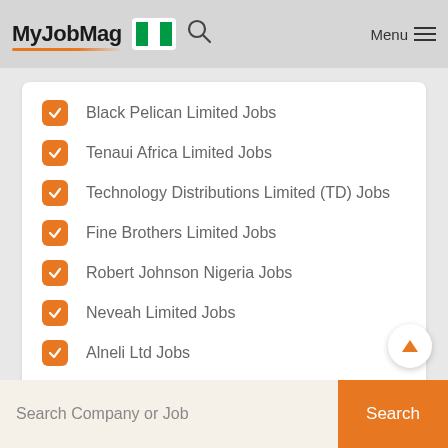MyJobMag Menu
Black Pelican Limited Jobs
Tenaui Africa Limited Jobs
Technology Distributions Limited (TD) Jobs
Fine Brothers Limited Jobs
Robert Johnson Nigeria Jobs
Neveah Limited Jobs
Alneli Ltd Jobs
Bristol Scientific Jobs
Search Company or Job
Search